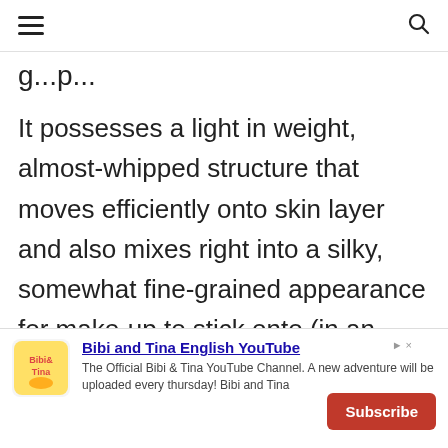≡  [search icon]
...g...p...
It possesses a light in weight, almost-whipped structure that moves efficiently onto skin layer and also mixes right into a silky, somewhat fine-grained appearance for make-up to stick onto (in an excellent way).
formula's eco-friendly herbal tea
[Figure (screenshot): Advertisement banner for Bibi and Tina English YouTube channel with logo, description text, and Subscribe button]